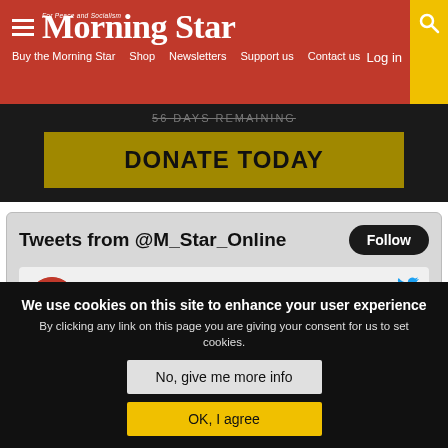Morning Star — For Peace and Socialism
Log in
Buy the Morning Star   Shop   Newsletters   Support us   Contact us
56 DAYS REMAINING
DONATE TODAY
Tweets from @M_Star_Online
Follow
Morning Star @M_Star_Online · 5h
Reject the capitalist variants and receive a
We use cookies on this site to enhance your user experience By clicking any link on this page you are giving your consent for us to set cookies.
No, give me more info
OK, I agree